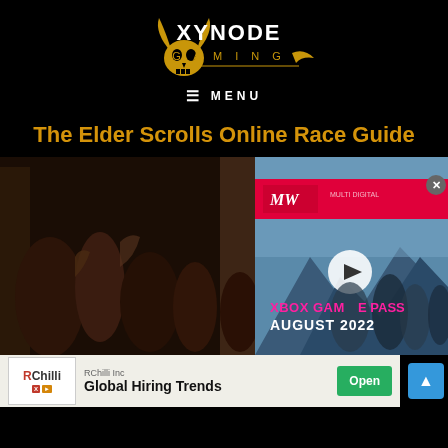[Figure (logo): XYNODE GAMING logo with gold viking/horned skull icon and stylized text, gold color on black background]
≡ MENU
The Elder Scrolls Online Race Guide
[Figure (screenshot): ESO game screenshot showing group of fantasy characters on left side, overlaid with Xbox Game Pass August 2022 video ad panel on right with pink/magenta text and play button, military soldiers in background of ad]
[Figure (infographic): RChilli Inc advertisement banner: Global Hiring Trends with Open button in green, RChilli logo on white background]